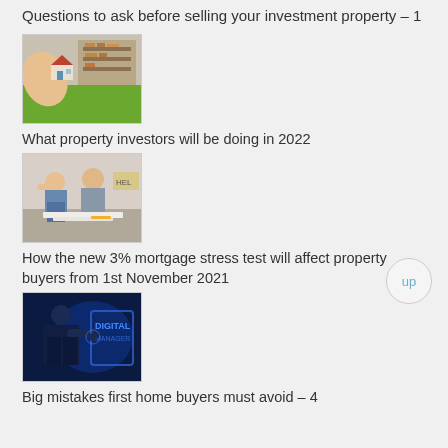Questions to ask before selling your investment property – 1
[Figure (photo): Hands cupping a small house model above green grass with shelving/boxes in background]
What property investors will be doing in 2022
[Figure (photo): Stressed couple sitting on floor with papers, with HELP sign in background]
How the new 3% mortgage stress test will affect property buyers from 1st November 2021
[Figure (photo): Businessman in dark suit touching futuristic digital screen interface]
Big mistakes first home buyers must avoid – 4